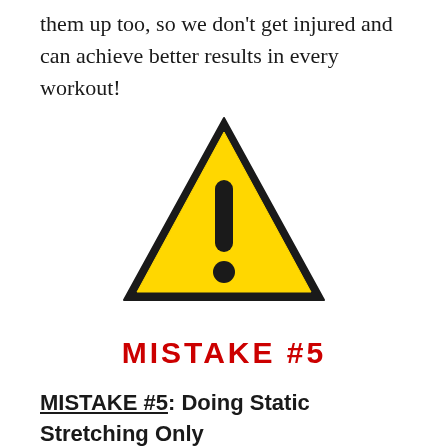them up too, so we don't get injured and can achieve better results in every workout!
[Figure (illustration): Yellow warning triangle sign with black exclamation mark, with text 'MISTAKE #5' in red stencil font below it]
MISTAKE #5: Doing Static Stretching Only